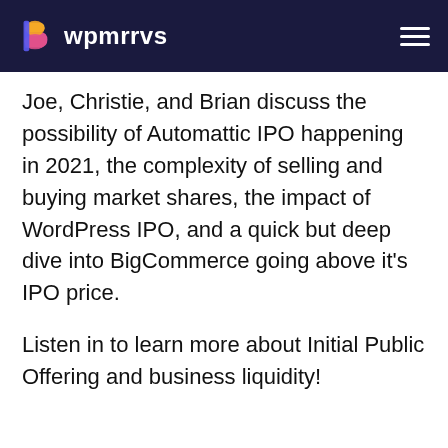wpmrrvs
Joe, Christie, and Brian discuss the possibility of Automattic IPO happening in 2021, the complexity of selling and buying market shares, the impact of WordPress IPO, and a quick but deep dive into BigCommerce going above it's IPO price.
Listen in to learn more about Initial Public Offering and business liquidity!